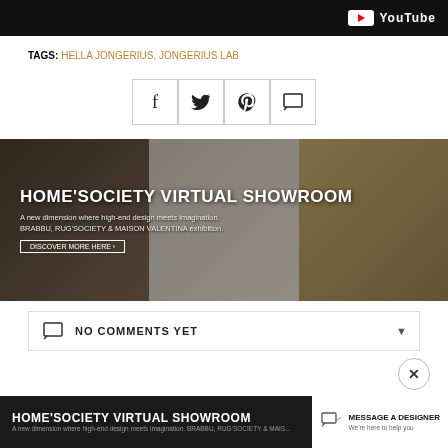[Figure (screenshot): Black banner with YouTube logo at top right]
TAGS: HELLA JONGERIUS, JONGERIUS LAB
[Figure (infographic): Four social share buttons: Facebook, Twitter, Pinterest, Comment]
[Figure (photo): HOME'SOCIETY VIRTUAL SHOWROOM banner. A new dimension where high-end design meets imagination. BRABBU, RUG'SOCIETY & MAISON VALENTINA exhibition.]
NO COMMENTS YET
[Figure (infographic): Bottom ad banner: HOME'SOCIETY VIRTUAL SHOWROOM with MESSAGE A DESIGNER button]